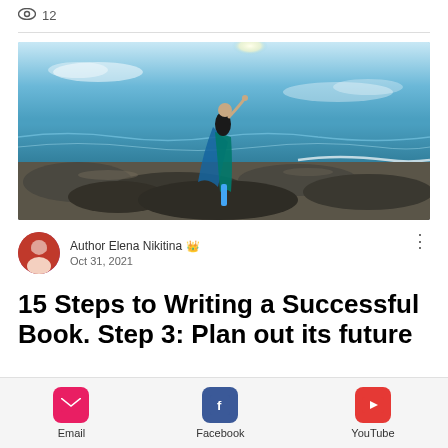👁 12
[Figure (photo): A person standing on rocky shoreline by the sea, wearing a colorful blue outfit, shielding eyes from sun, dramatic sky in background]
Author Elena Nikitina 👑
Oct 31, 2021
15 Steps to Writing a Successful Book. Step 3: Plan out its future
Email | Facebook | YouTube